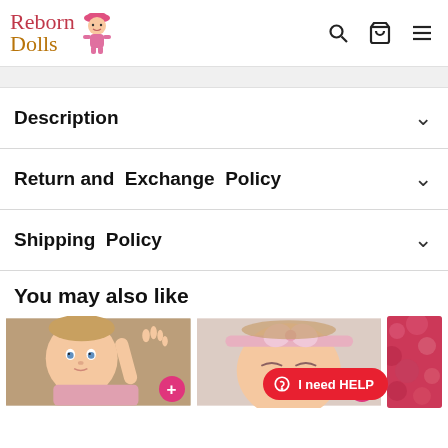Reborn Dolls
Description
Return and Exchange Policy
Shipping Policy
You may also like
[Figure (photo): Photo of a reborn baby doll with blue eyes, light brown hair, wearing pink clothing, raising one hand]
[Figure (photo): Photo of a reborn baby doll wearing a pink bow headband, eyes closed, peaceful expression]
[Figure (photo): Partial photo showing pink/red textured fabric or clothing]